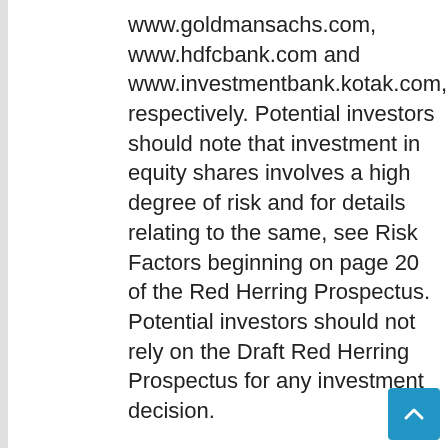www.goldmansachs.com, www.hdfcbank.com and www.investmentbank.kotak.com, respectively. Potential investors should note that investment in equity shares involves a high degree of risk and for details relating to the same, see Risk Factors beginning on page 20 of the Red Herring Prospectus. Potential investors should not rely on the Draft Red Herring Prospectus for any investment decision.
These materials are not for publication or distribution, directly or indirectly, in or into the United States (including its territories and possessions, any state of the United States and the District of Columbia). These materials are not an offer of securities for sale into the United